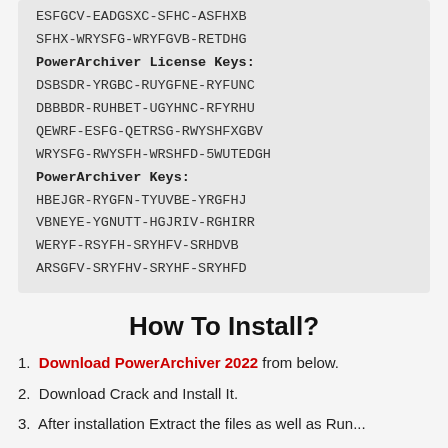ESFGCV-EADGSXC-SFHC-ASFHXB
SFHX-WRYSFG-WRYFGVB-RETDHG
PowerArchiver License Keys:
DSBSDR-YRGBC-RUYGFNE-RYFUNC
DBBBDR-RUHBET-UGYHNC-RFYRHU
QEWRF-ESFG-QETRSG-RWYSHFXGBV
WRYSFG-RWYSFH-WRSHFD-5WUTEDGH
PowerArchiver Keys:
HBEJGR-RYGFN-TYUVBE-YRGFHJ
VBNEYE-YGNUTT-HGJRIV-RGHIRR
WERYF-RSYFH-SRYHFV-SRHDVB
ARSGFV-SRYFHV-SRYHF-SRYHFD
How To Install?
Download PowerArchiver 2022 from below.
Download Crack and Install It.
After installation Extract the files as well as Run...